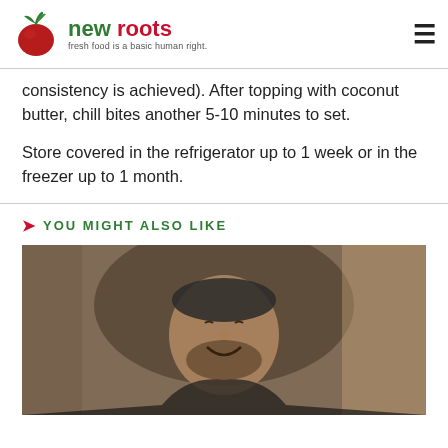new roots — fresh food is a basic human right.
consistency is achieved). After topping with coconut butter, chill bites another 5-10 minutes to set.
Store covered in the refrigerator up to 1 week or in the freezer up to 1 month.
YOU MIGHT ALSO LIKE
[Figure (photo): A man wearing a beanie/headband smiling, photographed in a warm sepia/vintage tone at what appears to be an outdoor market or event.]